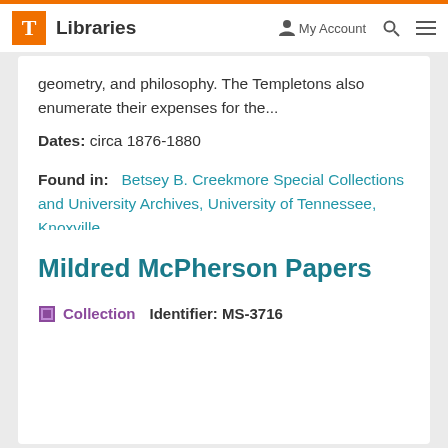T Libraries | My Account | Search | Menu
geometry, and philosophy. The Templetons also enumerate their expenses for the...
Dates: circa 1876-1880
Found in:   Betsey B. Creekmore Special Collections and University Archives, University of Tennessee, Knoxville
Mildred McPherson Papers
Collection   Identifier: MS-3716